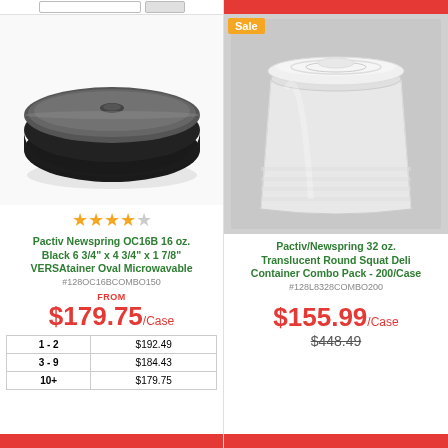[Figure (photo): Black oval microwavable container with clear lid (Pactiv Newspring VERSAtainer)]
★★★★☆
Pactiv Newspring OC16B 16 oz. Black 6 3/4" x 4 3/4" x 1 7/8" VERSAtainer Oval Microwavable
#128OC16BCOMBO150
FROM
$179.75/Case
| Qty | Price |
| --- | --- |
| 1 - 2 | $192.49 |
| 3 - 9 | $184.43 |
| 10+ | $179.75 |
[Figure (photo): Translucent round squat deli container (Pactiv/Newspring 32 oz.)]
Pactiv/Newspring 32 oz. Translucent Round Squat Deli Container Combo Pack - 200/Case
#128L8328COMBO200
$155.99/Case
$448.49